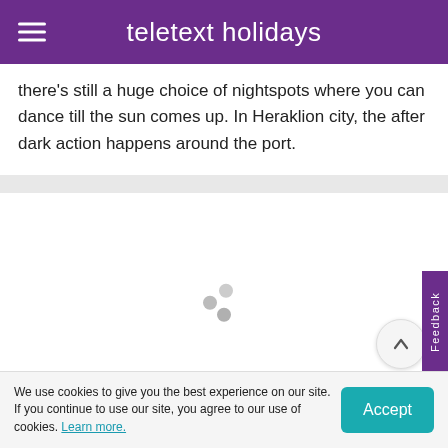teletext holidays
there's still a huge choice of nightspots where you can dance till the sun comes up. In Heraklion city, the after dark action happens around the port.
[Figure (photo): Loading placeholder (spinner dots) for an image card with title 'Traditional Greece' at the bottom]
Traditional Greece
Feedback
We use cookies to give you the best experience on our site. If you continue to use our site, you agree to our use of cookies. Learn more.